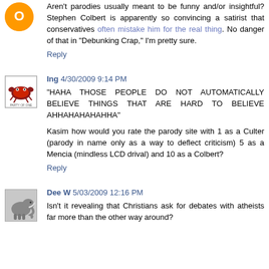Aren't parodies usually meant to be funny and/or insightful? Stephen Colbert is apparently so convincing a satirist that conservatives often mistake him for the real thing. No danger of that in "Debunking Crap," I'm pretty sure.
Reply
Ing 4/30/2009 9:14 PM
"HAHA THOSE PEOPLE DO NOT AUTOMATICALLY BELIEVE THINGS THAT ARE HARD TO BELIEVE AHHAHAHAHAHHA"
Kasim how would you rate the parody site with 1 as a Culter (parody in name only as a way to deflect criticism) 5 as a Mencia (mindless LCD drival) and 10 as a Colbert?
Reply
Dee W 5/03/2009 12:16 PM
Isn't it revealing that Christians ask for debates with atheists far more than the other way around?